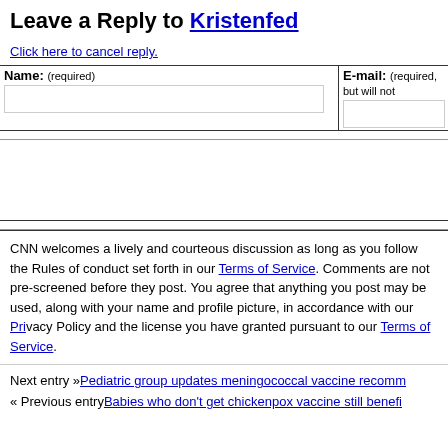Leave a Reply to Kristenfed
Click here to cancel reply.
| Name: (required) | E-mail: (required, but will not be published) |
| --- | --- |
|  |  |
CNN welcomes a lively and courteous discussion as long as you follow the Rules of Conduct set forth in our Terms of Service. Comments are not pre-screened before they post. You agree that anything you post may be used, along with your name and profile picture, in accordance with our Privacy Policy and the license you have granted pursuant to our Terms of Service.
Next entry »Pediatric group updates meningococcal vaccine recommendations
« Previous entryBabies who don't get chickenpox vaccine still benefit